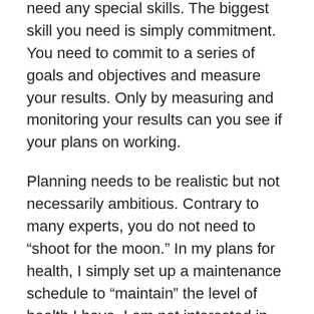need any special skills. The biggest skill you need is simply commitment. You need to commit to a series of goals and objectives and measure your results. Only by measuring and monitoring your results can you see if your plans on working.
Planning needs to be realistic but not necessarily ambitious. Contrary to many experts, you do not need to “shoot for the moon.” In my plans for health, I simply set up a maintenance schedule to “maintain” the level of health I have. I am not interested in breaking my “personal best” time or running a marathon tomorrow I want to maintain an adequate level of health to do the things I enjoy and not spend my time in the hospital or in bed. I do not set goals to be the next Olympic gold medal winner.
Tomorrow, we will talk about the first of my five essential